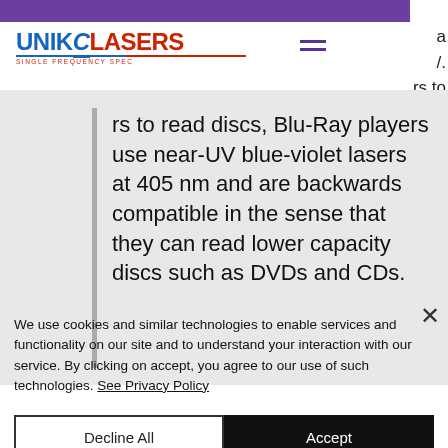UNIK LASERS
rs to read discs, Blu-Ray players use near-UV blue-violet lasers at 405 nm and are backwards compatible in the sense that they can read lower capacity discs such as DVDs and CDs.
We use cookies and similar technologies to enable services and functionality on our site and to understand your interaction with our service. By clicking on accept, you agree to our use of such technologies. See Privacy Policy
Decline All
Accept
Read More